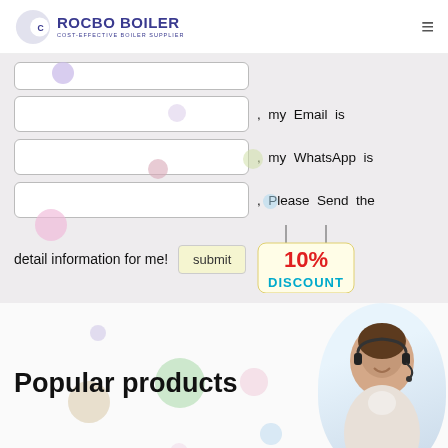[Figure (logo): Rocbo Boiler logo with crescent moon icon and text 'ROCBO BOILER - COST-EFFECTIVE BOILER SUPPLIER']
[Figure (screenshot): Web form section with three input fields for Email, WhatsApp, and additional info, with labels ', my Email is', ', my WhatsApp is', ', Please Send the detail information for me!' and a submit button. Decorative colored bubbles in background.]
Popular products
[Figure (photo): Customer service representative woman with headset smiling, circular crop]
7X24 Online